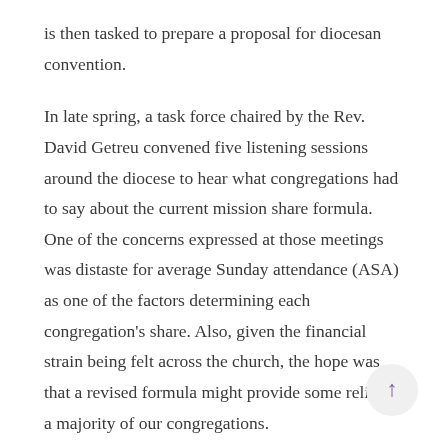is then tasked to prepare a proposal for diocesan convention.
In late spring, a task force chaired by the Rev. David Getreu convened five listening sessions around the diocese to hear what congregations had to say about the current mission share formula. One of the concerns expressed at those meetings was distaste for average Sunday attendance (ASA) as one of the factors determining each congregation's share. Also, given the financial strain being felt across the church, the hope was that a revised formula might provide some relief to a majority of our congregations.
This formula removes ASA as a factor and bases